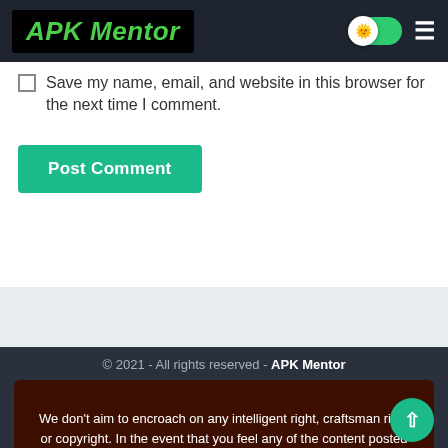APK Mentor
Save my name, email, and website in this browser for the next time I comment.
Post Comment
© 2021 - All rights reserved - APK Mentor
We don't aim to encroach on any intelligent right, craftsman right or copyright. In the event that you feel any of the content posted here is under your possession then simply reach us and we will eliminate that content right away. Or if you require an appropriate credit kindly let us know. Applications, games and some other data introduced on this site is planned uniquely to acquaint clients with the materials that might hold any importance to them.